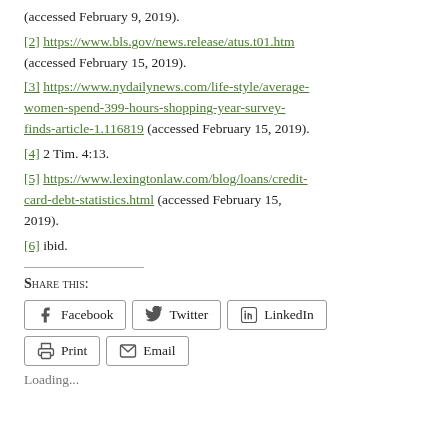(accessed February 9, 2019).
[2] https://www.bls.gov/news.release/atus.t01.htm (accessed February 15, 2019).
[3] https://www.nydailynews.com/life-style/average-women-spend-399-hours-shopping-year-survey-finds-article-1.116819 (accessed February 15, 2019).
[4] 2 Tim. 4:13.
[5] https://www.lexingtonlaw.com/blog/loans/credit-card-debt-statistics.html (accessed February 15, 2019).
[6] ibid.
Share this:
Facebook  Twitter  LinkedIn  Print  Email
Loading...